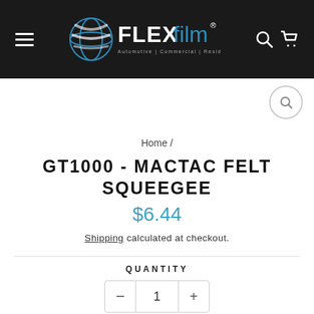[Figure (logo): FLEXfilm logo with globe icon on dark header bar, with hamburger menu on left and search/cart icons on right]
[Figure (other): Circular search icon button]
Home /
GT1000 - MACTAC FELT SQUEEGEE
$6.44
Shipping calculated at checkout.
QUANTITY
- 1 +